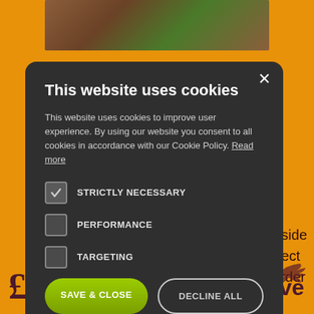[Figure (screenshot): Background of a website with orange color scheme, showing a photo of cattle/hunting scene at top, partial white logo box, dark maroon text fragments on right side ('alongside', 'ith direct', 's in order', 'ence.'), a logo mark, partial word 'eve', and large '£100' text at bottom left.]
This website uses cookies
This website uses cookies to improve user experience. By using our website you consent to all cookies in accordance with our Cookie Policy. Read more
STRICTLY NECESSARY
PERFORMANCE
TARGETING
SAVE & CLOSE
DECLINE ALL
SHOW DETAILS